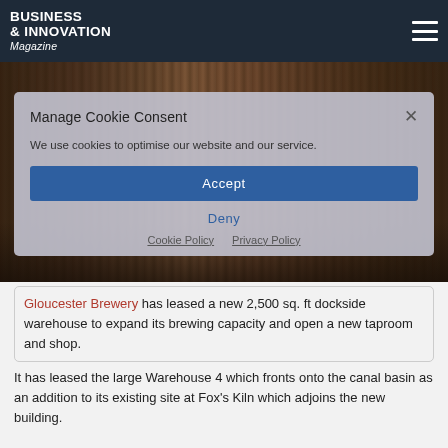BUSINESS & INNOVATION Magazine
[Figure (photo): Brewery interior showing rows of bottles/cans on shelves with dark warm-toned lighting]
Manage Cookie Consent
We use cookies to optimise our website and our service.
Accept
Deny
Cookie Policy  Privacy Policy
Gloucester Brewery has leased a new 2,500 sq. ft dockside warehouse to expand its brewing capacity and open a new taproom and shop.
It has leased the large Warehouse 4 which fronts onto the canal basin as an addition to its existing site at Fox's Kiln which adjoins the new building.